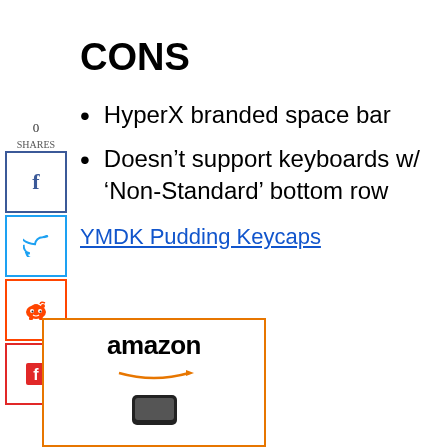CONS
HyperX branded space bar
Doesn't support keyboards w/ 'Non-Standard' bottom row
YMDK Pudding Keycaps
[Figure (logo): Amazon logo with orange arrow, partial product image below]
0 SHARES social share buttons: Facebook, Twitter, Reddit, Flipboard